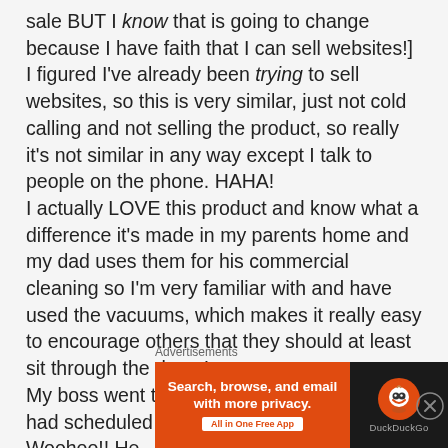sale BUT I know that is going to change because I have faith that I can sell websites!] I figured I've already been trying to sell websites, so this is very similar, just not cold calling and not selling the product, so really it's not similar in any way except I talk to people on the phone. HAHA!
I actually LOVE this product and know what a difference it's made in my parents home and my dad uses them for his commercial cleaning so I'm very familiar with and have used the vacuums, which makes it really easy to encourage others that they should at least sit through the demo!
My boss went to his first appointment that I had scheduled him and it ended in a sale! Woohoo!! He
Advertisements
[Figure (other): DuckDuckGo advertisement banner. Orange left panel with text 'Search, browse, and email with more privacy. All in One Free App'. Dark right panel with DuckDuckGo logo and name.]